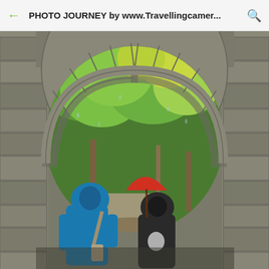PHOTO JOURNEY by www.Travellingcamer...
[Figure (photo): Two people walking through a stone arch tunnel with lush green trees visible on the other side. One person wears a blue hoodie with a bag, another wears a dark hoodie. A red umbrella is visible in the middle background. The arch is made of large granite/stone blocks.]